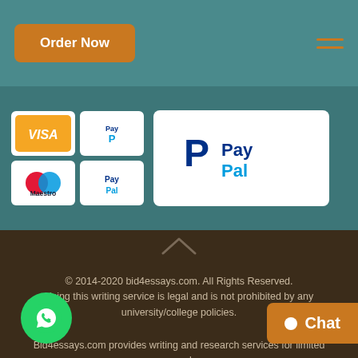[Figure (screenshot): Navigation bar with orange 'Order Now' button and hamburger menu icon on teal background]
[Figure (screenshot): Payment logos area showing Visa, PayPal, Maestro, PayPal icons on teal background, with large PayPal logo on right]
© 2014-2020 bid4essays.com. All Rights Reserved. Using this writing service is legal and is not prohibited by any university/college policies.
Bid4essays.com provides writing and research services for limited use only.
ll the materials from our website should be used with proper references and in accordance with Terms and
[Figure (screenshot): WhatsApp circular green button at bottom left and orange Chat button at bottom right]